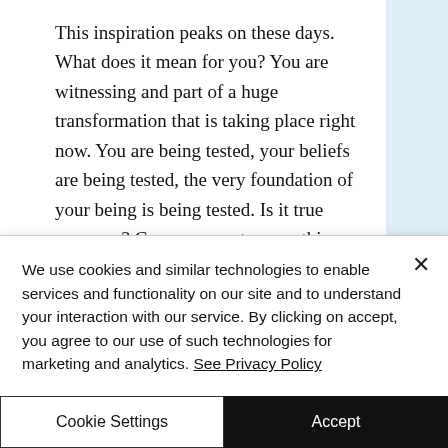This inspiration peaks on these days. What does it mean for you? You are witnessing and part of a huge transformation that is taking place right now. You are being tested, your beliefs are being tested, the very foundation of your being is being tested. Is it true anymore? Can you count on anything you used to count on? We are under construction, our new foundations are being created on shaky ground or firm
We use cookies and similar technologies to enable services and functionality on our site and to understand your interaction with our service. By clicking on accept, you agree to our use of such technologies for marketing and analytics. See Privacy Policy
Cookie Settings
Accept